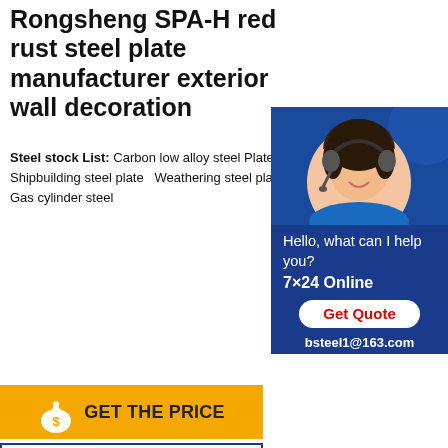Rongsheng SPA-H red rust steel plate manufacturer exterior wall decoration
Steel stock List: Carbon low alloy steel Plates  Shipbuilding steel plate  Weathering steel plate  Gas cylinder steel
[Figure (photo): Customer service representative with headset, chat widget with text: Hello, what can I help you? 7×24 Online, Get Quote button, bsteel1@163.com]
[Figure (infographic): Gold banner with money bag icon: GET THE PRICE]
[Figure (infographic): White banner with envelope icon and blue border: SEND MESSAGE]
Advantages
Thickness:1.2-600mm
Width:1220-4200mm